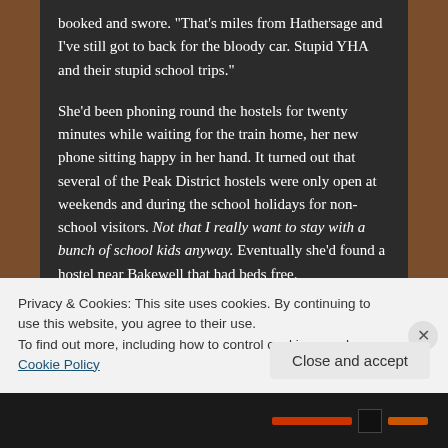booked and swore. "That's miles from Hathersage and I've still got to back for the bloody car. Stupid YHA and their stupid school trips."
She'd been phoning round the hostels for twenty minutes while waiting for the train home, her new phone sitting happy in her hand. It turned out that several of the Peak District hostels were only open at weekends and during the school holidays for non-school visitors. Not that I really want to stay with a bunch of school kids anyway. Eventually she'd found a hostel near Bakewell that had beds free.
Privacy & Cookies: This site uses cookies. By continuing to use this website, you agree to their use.
To find out more, including how to control cookies, see here: Cookie Policy